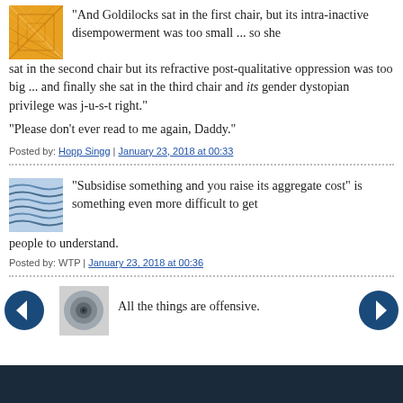"And Goldilocks sat in the first chair, but its intra-inactive disempowerment was too small ... so she sat in the second chair but its refractive post-qualitative oppression was too big ... and finally she sat in the third chair and its gender dystopian privilege was j-u-s-t right."
"Please don't ever read to me again, Daddy."
Posted by: Hopp Singg | January 23, 2018 at 00:33
“Subsidise something and you raise its aggregate cost” is something even more difficult to get people to understand.
Posted by: WTP | January 23, 2018 at 00:36
All the things are offensive.